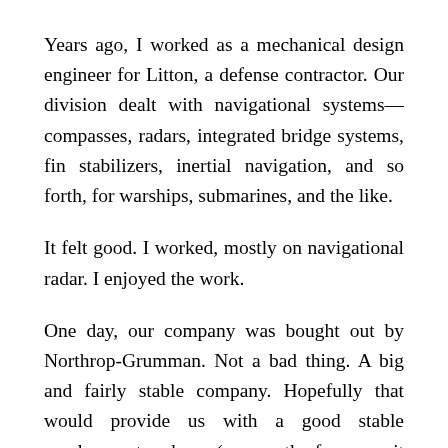Years ago, I worked as a mechanical design engineer for Litton, a defense contractor. Our division dealt with navigational systems— compasses, radars, integrated bridge systems, fin stabilizers, inertial navigation, and so forth, for warships, submarines, and the like.
It felt good. I worked, mostly on navigational radar. I enjoyed the work.
One day, our company was bought out by Northrop-Grumman. Not a bad thing. A big and fairly stable company. Hopefully that would provide us with a good stable employment and pay (apparently, for many it didn't… but I left for mission work well before all of that).